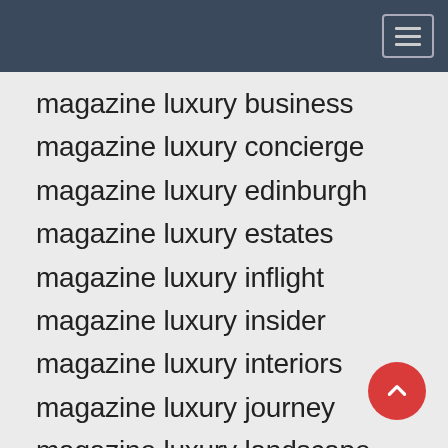Navigation bar with hamburger menu
magazine luxury business magazine luxury concierge magazine luxury edinburgh magazine luxury estates magazine luxury inflight magazine luxury insider magazine luxury interiors magazine luxury journey magazine luxury landscape magazine luxury landscapes magazine luxury magazine ads luxury magazine cover luxury magazine culture luxury magazine indonesia luxury magazine janine luxury magazine jobs luxury magazine layout luxury magazine malaysia